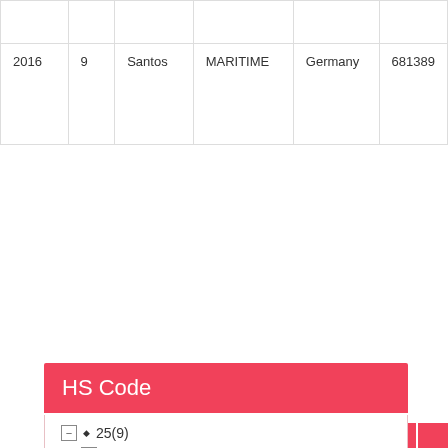|  |  |  |  |  |  |
| 2016 | 9 | Santos | MARITIME | Germany | 681389 |
[Figure (other): Pagination control with page buttons: 1 (active/blue), 2, 3, 4, 5, 6, 7, ..., 30, next arrow]
Request For Complete Data
HS Code
25(9)
2524(9)